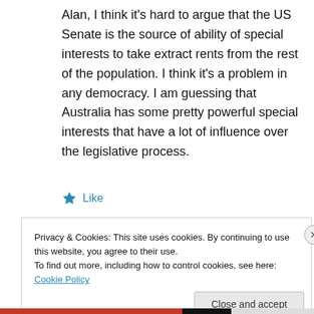Alan, I think it's hard to argue that the US Senate is the source of ability of special interests to take extract rents from the rest of the population. I think it's a problem in any democracy. I am guessing that Australia has some pretty powerful special interests that have a lot of influence over the legislative process.
★ Like
Privacy & Cookies: This site uses cookies. By continuing to use this website, you agree to their use.
To find out more, including how to control cookies, see here: Cookie Policy
Close and accept